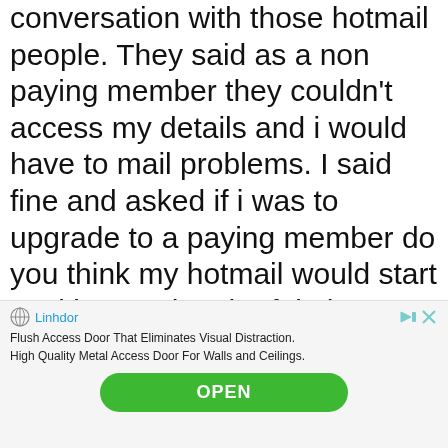conversation with those hotmail people. They said as a non paying member they couldn't access my details and i would have to mail problems. I said fine and asked if i was to upgrade to a paying member do you think my hotmail would start working again – he felt that was highly likely! What a suprise!
Pay peanuts get monkeys
[Figure (infographic): Advertisement banner for Linhdor. Shows globe icon and brand name 'Linhdor' in blue with ad controls. Text reads: 'Flush Access Door That Eliminates Visual Distraction. High Quality Metal Access Door For Walls and Ceilings.' Green OPEN button at bottom.]